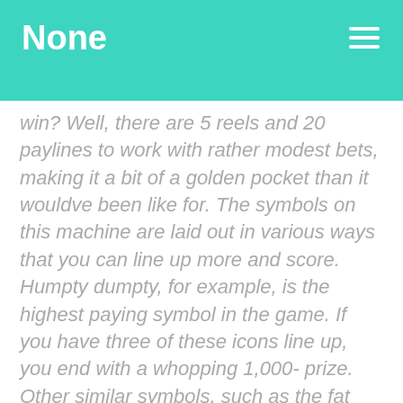None
win? Well, there are 5 reels and 20 paylines to work with rather modest bets, making it a bit of a golden pocket than it wouldve been like for. The symbols on this machine are laid out in various ways that you can line up more and score. Humpty dumpty, for example, is the highest paying symbol in the game. If you have three of these icons line up, you end with a whopping 1,000- prize. Other similar symbols, such as the fat harp, the jack, the queen and 10. This game has progressive jackpots as well. Put together a great number of features and keep you involved in this slot machine, and you will make a profit. It has a very tempting gamble feature, which can double your payouts. This feature seems to be the only feature in the game, and the lady o plenty may find the spot if you love the slots. In sultan's gold you will also be able to enjoy a free spins bonus feature. Once triggered you will get 8 spins with the